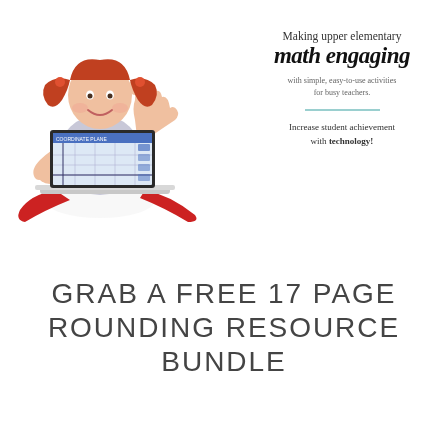[Figure (photo): Young girl with pigtails sitting cross-legged, resting chin on hand with thumbs up, with a laptop in front of her showing a coordinate plane activity. Composite image for an educational math resource advertisement.]
Making upper elementary math engaging with simple, easy-to-use activities for busy teachers. Increase student achievement with technology!
GRAB A FREE 17 PAGE ROUNDING RESOURCE BUNDLE